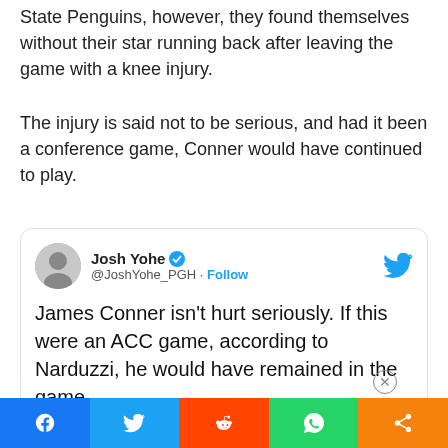Narduzzi. After one half against the Youngstown State Penguins, however, they found themselves without their star running back after leaving the game with a knee injury.
The injury is said not to be serious, and had it been a conference game, Conner would have continued to play.
[Figure (screenshot): Embedded tweet from Josh Yohe (@JoshYohe_PGH) with verified badge and Follow link. Tweet reads: James Conner isn't hurt seriously. If this were an ACC game, according to Narduzzi, he would have remained in the game. Posted at 9:23 PM · Sep 5, 2015.]
Social share bar: Facebook, Twitter, Reddit, WhatsApp, More